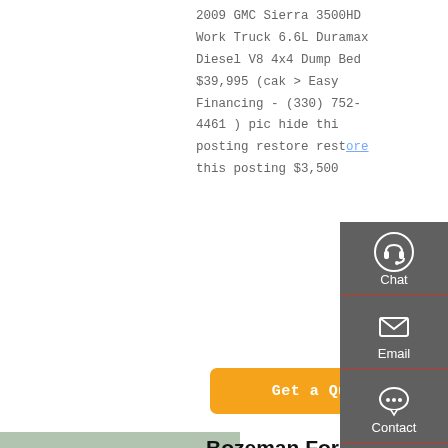2009 GMC Sierra 3500HD Work Truck 6.6L Duramax Diesel V8 4x4 Dump Bed $39,995 (cak > Easy Financing - (330) 752-4461 ) pic hide this posting restore restore this posting $3,500
[Figure (other): Orange 'Get a Quote' button]
[Figure (photo): Green dump truck (Sinotruk HOWO style) parked outside a building with a red barrel nearby]
Bozeman For Sale "Dump Truck" - Craigslist
65 Chevy TK Dump Truck.
[Figure (other): Sidebar with Chat (headset icon), Email (envelope icon), Contact (speech bubble icon), and Top (up arrow icon) buttons on dark grey background]